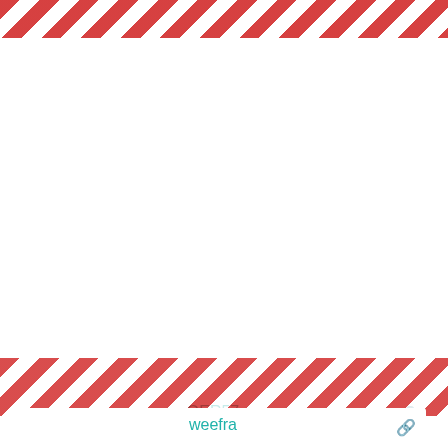GER57
I thought the Great Scottish Period of Forgetting began shortly after 1560.
November 16, 2019 2:32 pm
weefra
MAHE
All well here buddy. Nice to be posting again. HH
November 16, 2019 2:32 pm
weefra
jimthetim53